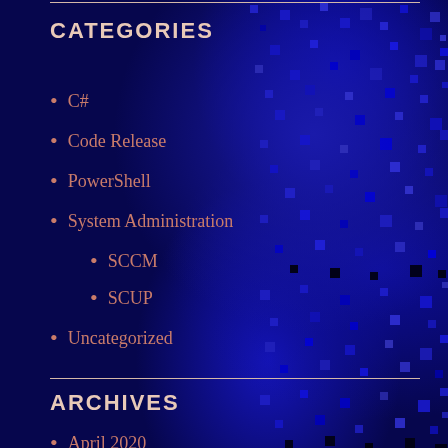CATEGORIES
C#
Code Release
PowerShell
System Administration
SCCM
SCUP
Uncategorized
ARCHIVES
April 2020